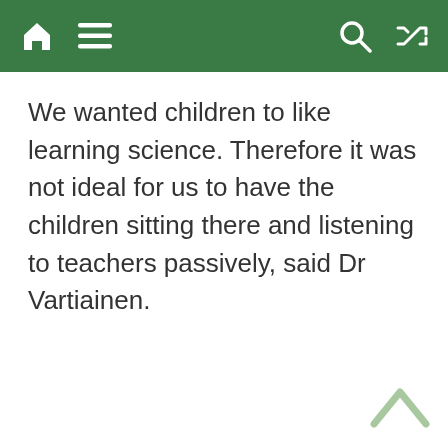[Navigation bar with home, menu, search, and shuffle icons]
We wanted children to like learning science. Therefore it was not ideal for us to have the children sitting there and listening to teachers passively, said Dr Vartiainen.